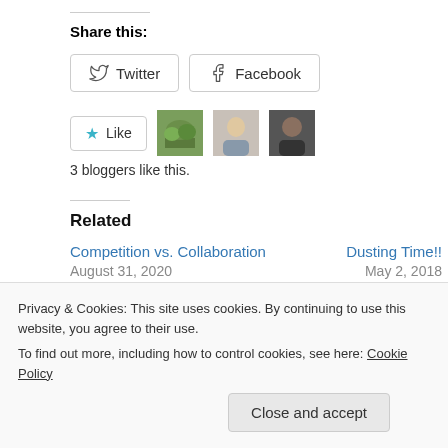Share this:
Twitter  Facebook
[Figure (other): Like button with star icon and 3 blogger avatar thumbnails]
3 bloggers like this.
Related
Competition vs. Collaboration
August 31, 2020
Dusting Time!!
May 2, 2018
Privacy & Cookies: This site uses cookies. By continuing to use this website, you agree to their use.
To find out more, including how to control cookies, see here: Cookie Policy
Close and accept